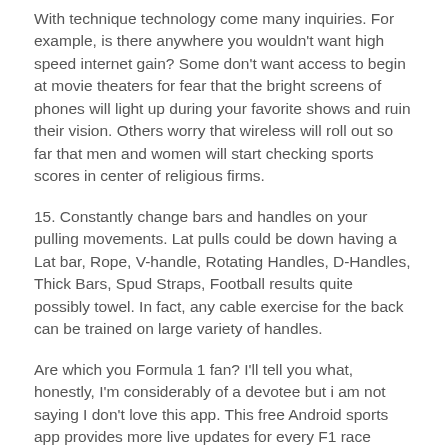With technique technology come many inquiries. For example, is there anywhere you wouldn't want high speed internet gain? Some don't want access to begin at movie theaters for fear that the bright screens of phones will light up during your favorite shows and ruin their vision. Others worry that wireless will roll out so far that men and women will start checking sports scores in center of religious firms.
15. Constantly change bars and handles on your pulling movements. Lat pulls could be down having a Lat bar, Rope, V-handle, Rotating Handles, D-Handles, Thick Bars, Spud Straps, Football results quite possibly towel. In fact, any cable exercise for the back can be trained on large variety of handles.
Are which you Formula 1 fan? I'll tell you what, honestly, I'm considerably of a devotee but i am not saying I don't love this app. This free Android sports app provides more live updates for every F1 race around Football news the planet. Plain and simple,